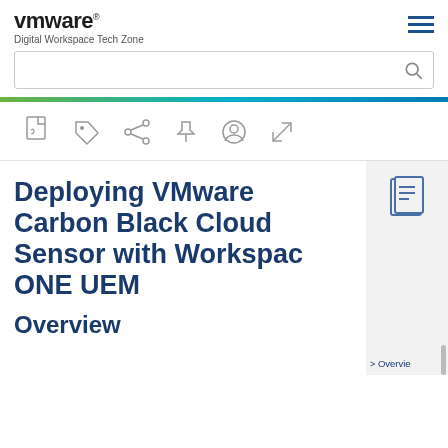VMware Digital Workspace Tech Zone
[Figure (screenshot): VMware website header with logo, Digital Workspace Tech Zone subtitle, hamburger menu icon, search bar, gradient colored bar, and icon toolbar with PDF, tag, share, pin, user, and expand icons]
Deploying VMware Carbon Black Cloud Sensor with Workspace ONE UEM
Overview